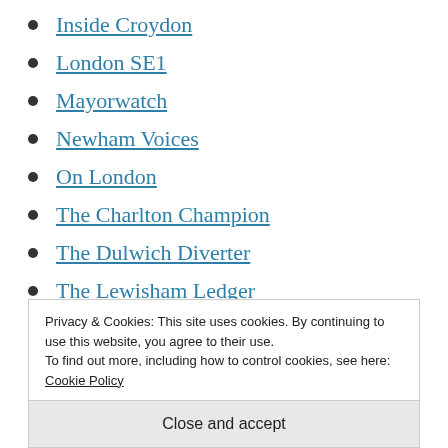Inside Croydon
London SE1
Mayorwatch
Newham Voices
On London
The Charlton Champion
The Dulwich Diverter
The Lewisham Ledger
The Peckham Peculiar
Privacy & Cookies: This site uses cookies. By continuing to use this website, you agree to their use.
To find out more, including how to control cookies, see here: Cookie Policy
Close and accept